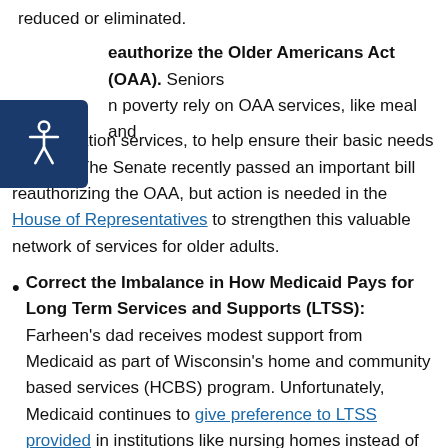reduced or eliminated.
Reauthorize the Older Americans Act (OAA). Seniors in poverty rely on OAA services, like meal and transportation services, to help ensure their basic needs are met. The Senate recently passed an important bill reauthorizing the OAA, but action is needed in the House of Representatives to strengthen this valuable network of services for older adults.
Correct the Imbalance in How Medicaid Pays for Long Term Services and Supports (LTSS): Farheen's dad receives modest support from Medicaid as part of Wisconsin's home and community based services (HCBS) program. Unfortunately, Medicaid continues to give preference to LTSS provided in institutions like nursing homes instead of at home, limiting the HCBS